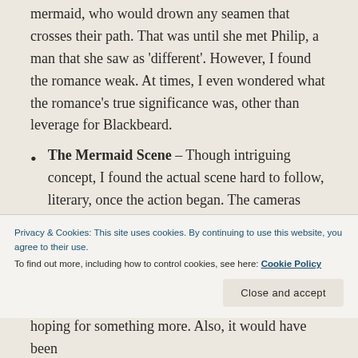mermaid, who would drown any seamen that crosses their path. That was until she met Philip, a man that she saw as 'different'. However, I found the romance weak. At times, I even wondered what the romance's true significance was, other than leverage for Blackbeard.
The Mermaid Scene – Though intriguing concept, I found the actual scene hard to follow, literary, once the action began. The cameras kept jumping from place to place only flashing seconds of one dark scene to another. All you can hear is the screams of men and Blackbeard barking his orders. Finally, I couldn't see what the mermaids were using to capture the men
Privacy & Cookies: This site uses cookies. By continuing to use this website, you agree to their use.
To find out more, including how to control cookies, see here: Cookie Policy
Close and accept
hoping for something more. Also, it would have been